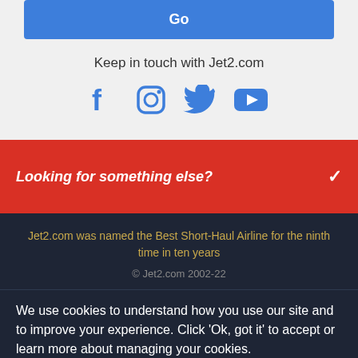Go
Keep in touch with Jet2.com
[Figure (other): Social media icons: Facebook, Instagram, Twitter, YouTube in blue]
Looking for something else?
Jet2.com was named the Best Short-Haul Airline for the ninth time in ten years
© Jet2.com 2002-22
We use cookies to understand how you use our site and to improve your experience. Click 'Ok, got it' to accept or learn more about managing your cookies.
Learn more
Ok, got it